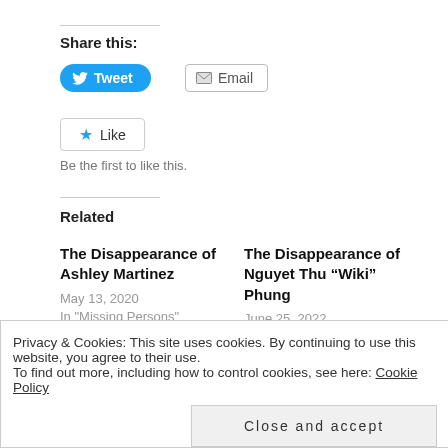Share this:
Tweet
Email
Like
Be the first to like this.
Related
The Disappearance of Ashley Martinez
May 13, 2020
In "Missing Persons"
The Disappearance of Nguyet Thu “Wiki” Phung
June 25, 2022
In "Missing Persons"
Privacy & Cookies: This site uses cookies. By continuing to use this website, you agree to their use.
To find out more, including how to control cookies, see here: Cookie Policy
Close and accept